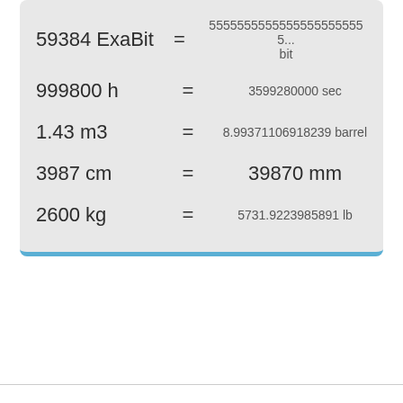| Input | = | Result |
| --- | --- | --- |
| 59384 ExaBit | = | 55555555555555555555555... bit |
| 999800 h | = | 3599280000 sec |
| 1.43 m3 | = | 8.99371106918239 barrel |
| 3987 cm | = | 39870 mm |
| 2600 kg | = | 5731.9223985891 lb |